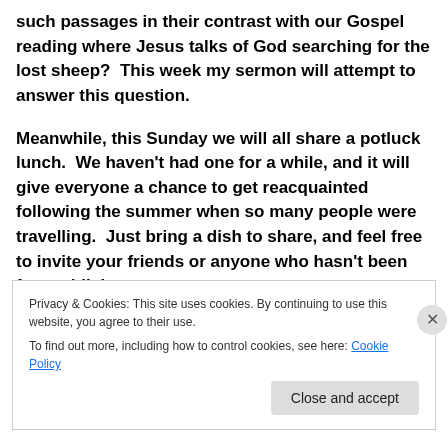such passages in their contrast with our Gospel reading where Jesus talks of God searching for the lost sheep?  This week my sermon will attempt to answer this question.

Meanwhile, this Sunday we will all share a potluck lunch.  We haven't had one for a while, and it will give everyone a chance to get reacquainted following the summer when so many people were travelling.  Just bring a dish to share, and feel free to invite your friends or anyone who hasn't been for a while!
Privacy & Cookies: This site uses cookies. By continuing to use this website, you agree to their use.
To find out more, including how to control cookies, see here: Cookie Policy